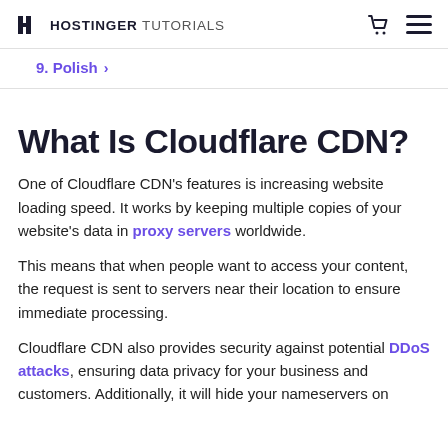HOSTINGER TUTORIALS
9. Polish >
What Is Cloudflare CDN?
One of Cloudflare CDN's features is increasing website loading speed. It works by keeping multiple copies of your website's data in proxy servers worldwide.
This means that when people want to access your content, the request is sent to servers near their location to ensure immediate processing.
Cloudflare CDN also provides security against potential DDoS attacks, ensuring data privacy for your business and customers. Additionally, it will hide your nameservers on